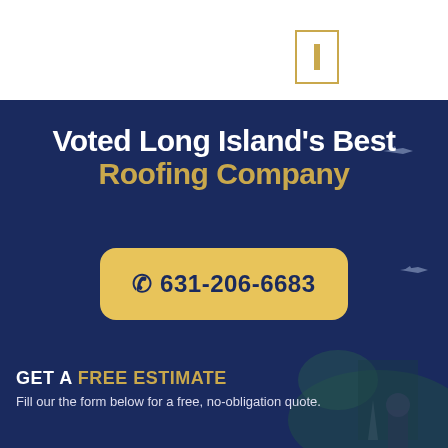[Figure (logo): Gold bordered rectangular logo/icon with a vertical bar inside, positioned in upper right on white background]
Voted Long Island's Best Roofing Company
☎ 631-206-6683
GET A FREE ESTIMATE
Fill our the form below for a free, no-obligation quote.
Name